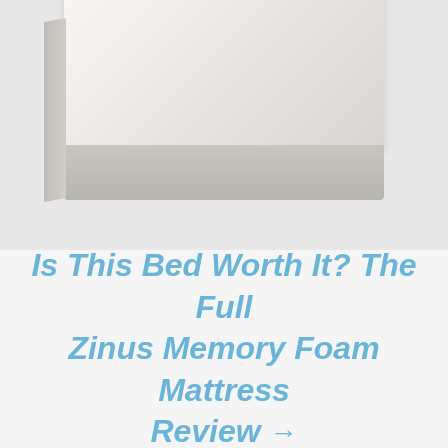[Figure (photo): A white/light gray memory foam mattress shown at an angle against a light gray background, displaying the top surface and side profile.]
Is This Bed Worth It? The Full Zinus Memory Foam Mattress Review →